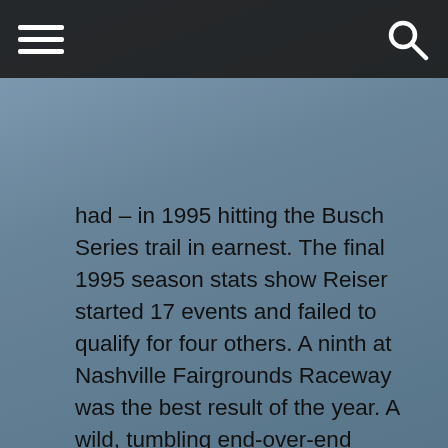[hamburger menu] [search icon]
had – in 1995 hitting the Busch Series trail in earnest. The final 1995 season stats show Reiser started 17 events and failed to qualify for four others. A ninth at Nashville Fairgrounds Raceway was the best result of the year. A wild, tumbling end-over-end violent crash at Talladega was the low point.
Meanwhile, money – which is always an issue in racing regardless of who you are – started to tighten up for Reiser. The 1995 Nashville season-best effort paid Reiser a whopping $3,100. That was hardly enough money to pay the tire bill back then and for a family team like Reiser's that was personally funding the effort, it was a drop in the bucket.
As such, the 1996 season looked like the end of Reiser's NASCAR career as he cut back to just